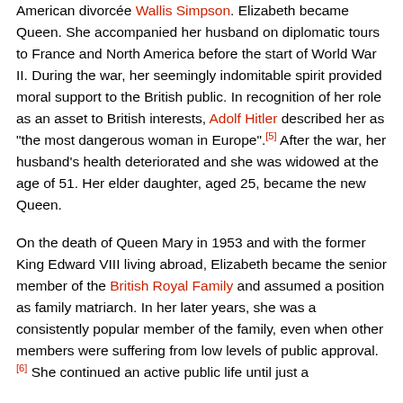American divorcée Wallis Simpson. Elizabeth became Queen. She accompanied her husband on diplomatic tours to France and North America before the start of World War II. During the war, her seemingly indomitable spirit provided moral support to the British public. In recognition of her role as an asset to British interests, Adolf Hitler described her as "the most dangerous woman in Europe".[5] After the war, her husband's health deteriorated and she was widowed at the age of 51. Her elder daughter, aged 25, became the new Queen.
On the death of Queen Mary in 1953 and with the former King Edward VIII living abroad, Elizabeth became the senior member of the British Royal Family and assumed a position as family matriarch. In her later years, she was a consistently popular member of the family, even when other members were suffering from low levels of public approval.[6] She continued an active public life until just a